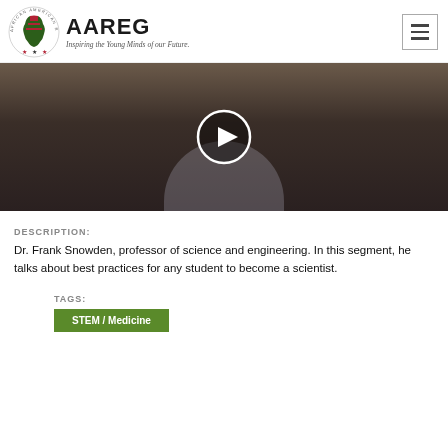AAREG – Inspiring the Young Minds of our Future.
[Figure (photo): Video thumbnail showing a man in a dark sweater and light collared shirt with a white circular play button overlay in the center]
DESCRIPTION:
Dr. Frank Snowden, professor of science and engineering.  In this segment, he talks about best practices for any student to become a scientist.
TAGS:
STEM / Medicine